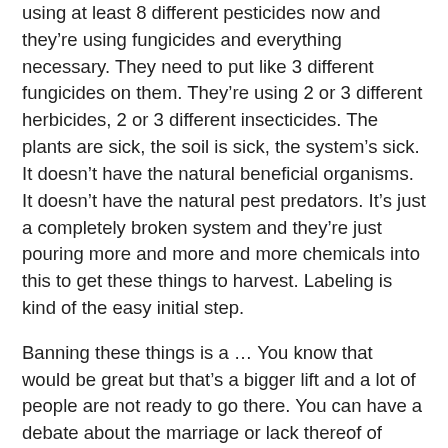using at least 8 different pesticides now and they're using fungicides and everything necessary. They need to put like 3 different fungicides on them. They're using 2 or 3 different herbicides, 2 or 3 different insecticides. The plants are sick, the soil is sick, the system's sick. It doesn't have the natural beneficial organisms. It doesn't have the natural pest predators. It's just a completely broken system and they're just pouring more and more and more chemicals into this to get these things to harvest. Labeling is kind of the easy initial step.
Banning these things is a … You know that would be great but that's a bigger lift and a lot of people are not ready to go there. You can have a debate about the marriage or lack thereof of genetically engineered food but we all have a right to know it's not food. That's